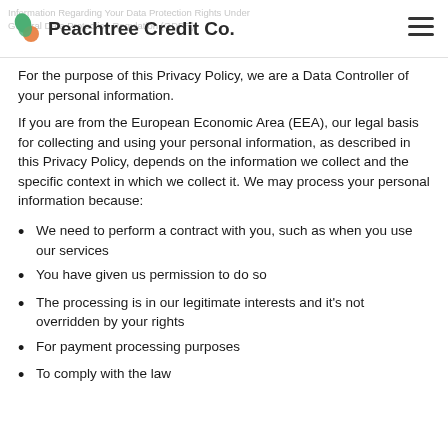Information Regarding Your Data Protection Rights Under General Data Protection Regulation (GDPR) | Peachtree Credit Co.
For the purpose of this Privacy Policy, we are a Data Controller of your personal information.
If you are from the European Economic Area (EEA), our legal basis for collecting and using your personal information, as described in this Privacy Policy, depends on the information we collect and the specific context in which we collect it. We may process your personal information because:
We need to perform a contract with you, such as when you use our services
You have given us permission to do so
The processing is in our legitimate interests and it's not overridden by your rights
For payment processing purposes
To comply with the law